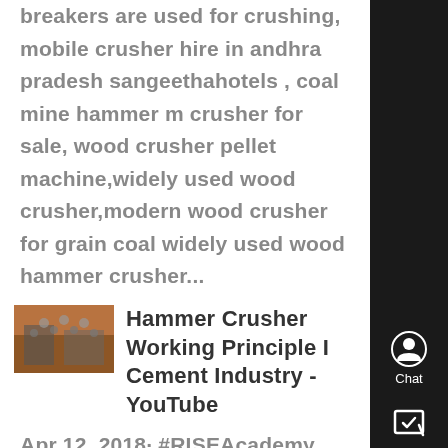breakers are used for crushing, mobile crusher hire in andhra pradesh sangeethahotels , coal mine hammer m crusher for sale, wood crusher pellet machine,widely used wood crusher,modern wood crusher for grain coal widely used wood hammer crusher...
[Figure (photo): Thumbnail image of industrial hammer crusher equipment in a factory setting]
Hammer Crusher Working Principle I Cement Industry - YouTube
Apr 12, 2018· #RISEAcademy Hammer Mill A hammer mill is a crusher that can grind, pulverize, and crush a wide range of materials This rock crusher machine employs a rain of hammer...